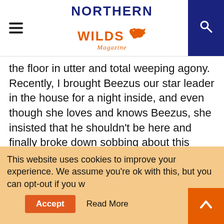Northern Wilds Magazine
the floor in utter and total weeping agony. Recently, I brought Beezus our star leader in the house for a night inside, and even though she loves and knows Beezus, she insisted that he shouldn't be here and finally broke down sobbing about this calamity. Matt and I are trying to weather the mood swings without casualty, but sometimes her moods rub off.
Training dogs is often our respite from the child, and indeed a few weeks ago, we received enough snow to make the leap from the ATV to sleds. I
This website uses cookies to improve your experience. We assume you're ok with this, but you can opt-out if you w